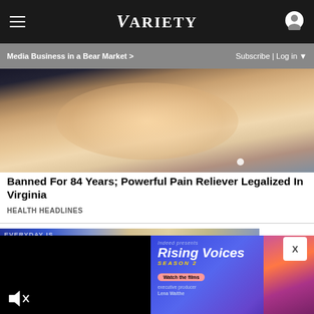VARIETY — Media Business in a Bear Market > | Subscribe | Log in
[Figure (photo): Close-up photo of a human fingertip with a small water droplet, against a dark background]
Banned For 84 Years; Powerful Pain Reliever Legalized In Virginia
HEALTH HEADLINES
[Figure (photo): Partial view of a blonde woman in front of a screen showing text; part of a news broadcast scene]
[Figure (photo): Indeed presents Rising Voices Season 2 advertisement featuring a person with colorful makeup and lighting; executive producer Lena Waithe. Watch the films button shown.]